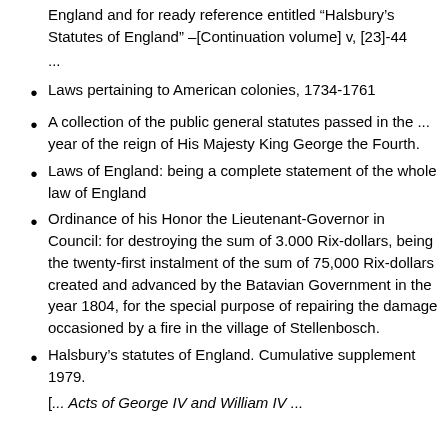England and for ready reference entitled “Halsbury’s Statutes of England” –[Continuation volume] v, [23]-44
...
Laws pertaining to American colonies, 1734-1761
A collection of the public general statutes passed in the ... year of the reign of His Majesty King George the Fourth.
Laws of England: being a complete statement of the whole law of England
Ordinance of his Honor the Lieutenant-Governor in Council: for destroying the sum of 3.000 Rix-dollars, being the twenty-first instalment of the sum of 75,000 Rix-dollars created and advanced by the Batavian Government in the year 1804, for the special purpose of repairing the damage occasioned by a fire in the village of Stellenbosch.
Halsbury’s statutes of England. Cumulative supplement 1979.
[... Acts of George IV and William IV ...